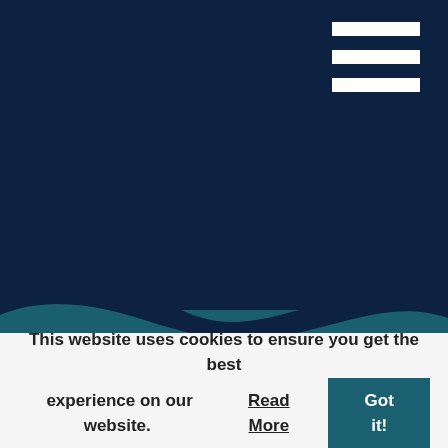Privacy & Data Protection
Uncategorized
[Figure (illustration): Dark navy to teal wave background graphic with a wave separator between two color regions]
Practice Areas
People
Testimonials
This website uses cookies to ensure you get the best experience on our website. Read More Got it!